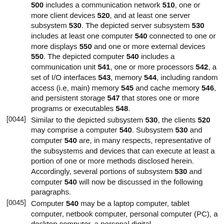500 includes a communication network 510, one or more client devices 520, and at least one server subsystem 530. The depicted server subsystem 530 includes at least one computer 540 connected to one or more displays 550 and one or more external devices 550. The depicted computer 540 includes a communication unit 541, one or more processors 542, a set of I/O interfaces 543, memory 544, including random access (i.e, main) memory 545 and cache memory 546, and persistent storage 547 that stores one or more programs or executables 548.
[0044] Similar to the depicted subsystem 530, the clients 520 may comprise a computer 540. Subsystem 530 and computer 540 are, in many respects, representative of the subsystems and devices that can execute at least a portion of one or more methods disclosed herein. Accordingly, several portions of subsystem 530 and computer 540 will now be discussed in the following paragraphs.
[0045] Computer 540 may be a laptop computer, tablet computer, netbook computer, personal computer (PC), a desktop computer, a personal digital